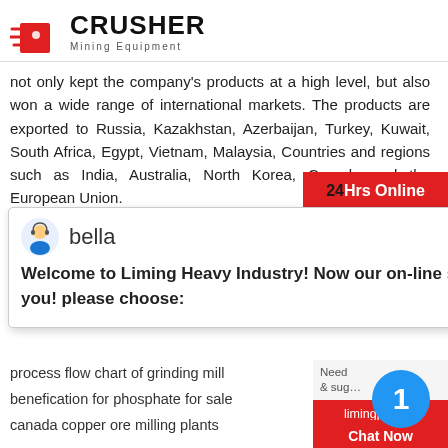[Figure (logo): Crusher Mining Equipment logo with red shopping bag icon and bold CRUSHER text]
not only kept the company's products at a high level, but also won a wide range of international markets. The products are exported to Russia, Kazakhstan, Azerbaijan, Turkey, Kuwait, South Africa, Egypt, Vietnam, Malaysia, Countries and regions such as India, Australia, North Korea, Canada and the European Union.
24Hrs Online
bella
Welcome to Liming Heavy Industry! Now our online service is chatting with you! please choose:
process flow chart of grinding mill
benefication for phosphate for sale
canada copper ore milling plants
general mills champions network
crusher machinein iron ore crushing
Need & suggestions
1
Chat Now
Enquiry
limingjlmofen@sina.com